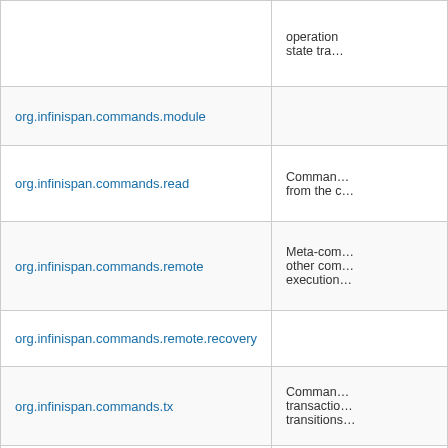| Package | Description |
| --- | --- |
| org.infinispan.commands.module |  |
| org.infinispan.commands.read | Commands for reading from the cache |
| org.infinispan.commands.remote | Meta-commands that compose other commands and control execution |
| org.infinispan.commands.remote.recovery |  |
| org.infinispan.commands.tx | Commands for transaction state transitions |
| org.infinispan.commands.write | Commands for write operations of the cache |
| org.infinispan.commons | Commons |
| org.infinispan.commons.hash |  |
| org.infinispan.config | Cache configuration and parsing |